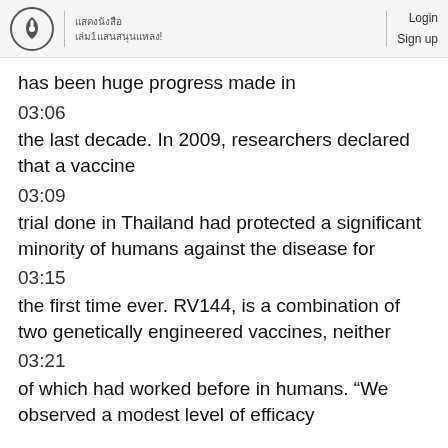Login Sign up
has been huge progress made in
03:06
the last decade. In 2009, researchers declared that a vaccine
03:09
trial done in Thailand had protected a significant minority of humans against the disease for
03:15
the first time ever. RV144, is a combination of two genetically engineered vaccines, neither
03:21
of which had worked before in humans. “We observed a modest level of efficacy